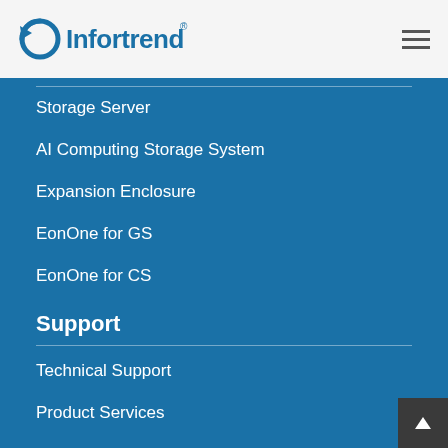[Figure (logo): Infortrend logo with blue circular arrow icon and blue text 'Infortrend' with registered trademark symbol]
Storage Server
AI Computing Storage System
Expansion Enclosure
EonOne for GS
EonOne for CS
Support
Technical Support
Product Services
Warranty Terms & Conditions
About
Infortrend Overview
Worldwide Offices